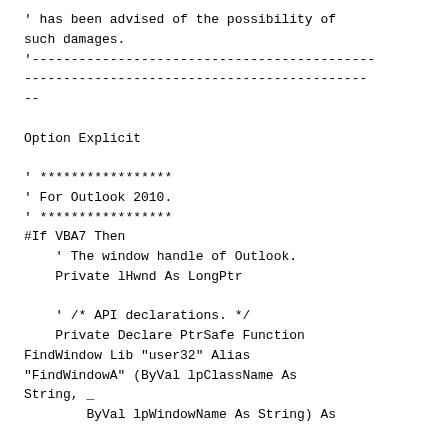' has been advised of the possibility of such damages.
'--------------------------------------------
--------------------------------------------
--

Option Explicit

' *****************
' For Outlook 2010.
' *****************
#If VBA7 Then
    ' The window handle of Outlook.
    Private lHwnd As LongPtr

    ' /* API declarations. */
    Private Declare PtrSafe Function FindWindow Lib "user32" Alias "FindWindowA" (ByVal lpClassName As String, _
        ByVal lpWindowName As String) As